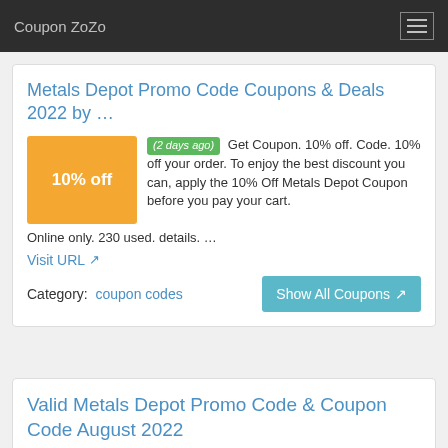Coupon ZoZo
Metals Depot Promo Code Coupons & Deals 2022 by …
(2 days ago) Get Coupon. 10% off. Code. 10% off your order. To enjoy the best discount you can, apply the 10% Off Metals Depot Coupon before you pay your cart. Online only. 230 used. details. …
Visit URL
Category:  coupon codes
Valid Metals Depot Promo Code & Coupon Code August 2022